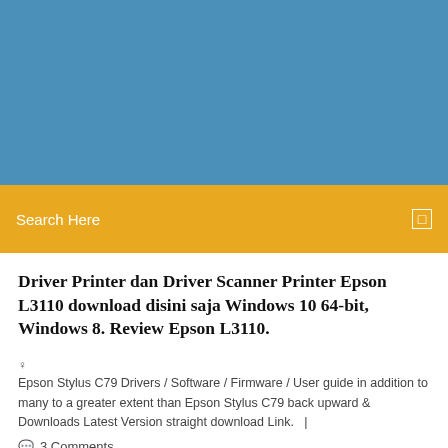[Figure (other): Blue banner header area at top of webpage]
Search Here
Driver Printer dan Driver Scanner Printer Epson L3110 download disini saja Windows 10 64-bit, Windows 8. Review Epson L3110.
Epson Stylus C79 Drivers / Software / Firmware / User guide in addition to many to a greater extent than Epson Stylus C79 back upward & Downloads Latest Version straight download Link.  |
3 Comments